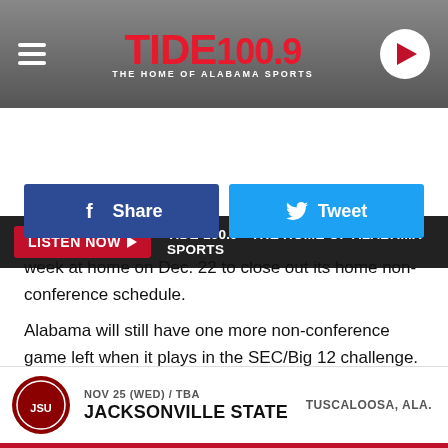[Figure (logo): Tide 100.9 - The Home of Alabama Sports radio station header with hamburger menu, red logo text, and play button]
LISTEN NOW ▶  TIDE 100.9 - THE HOME OF ALABAMA SPORTS
[Figure (screenshot): Facebook Share button (blue) and Twitter Tweet button (cyan) side by side]
week at home on Dec. 22 to close out its home non-conference schedule.
Alabama will still have one more non-conference game left when it plays in the SEC/Big 12 challenge. The Tide will travel to Norman, Oklahoma on Jan. 30. to represent the SEC. Alabama last beat Oklahoma in the SEC/Big 12 challenge in Tuscaloosa in 2018.
NOV 25 (WED) / TBA
JACKSONVILLE STATE
TUSCALOOSA, ALA.